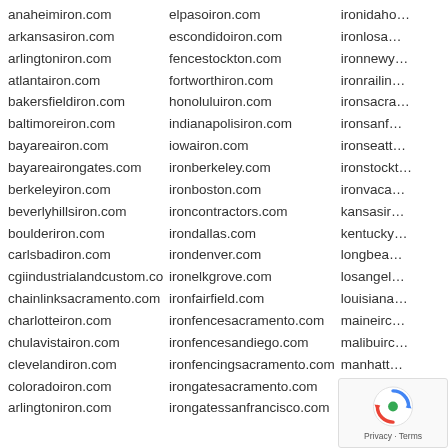anaheimiron.com
arkansasiron.com
arlingtoniron.com
atlantairon.com
bakersfieldiron.com
baltimoreiron.com
bayareairon.com
bayareairongates.com
berkeleyiron.com
beverlyhillsiron.com
boulderiron.com
carlsbadiron.com
cgiindustrialandcustom.com
chainlinksacramento.com
charlotteiron.com
chulavistairon.com
clevelandiron.com
coloradoiron.com
arlingtoniron.com
elpasoiron.com
escondidoiron.com
fencestockton.com
fortworthiron.com
honoluluiron.com
indianapolisiron.com
iowairon.com
ironberkeley.com
ironboston.com
ironcontractors.com
irondallas.com
irondenver.com
ironelkgrove.com
ironfairfield.com
ironfencesacramento.com
ironfencesandiego.com
ironfencingsacramento.com
irongatesacramento.com
irongatessanfrancisco.com
ironidah…
ironlosa…
ironnewy…
ironrailin…
ironsacra…
ironsanf…
ironseatt…
ironstockt…
ironvaca…
kansasir…
kentucky…
longbea…
losangel…
louisiana…
maineirc…
malibuirc…
manhatt…
massasc…
[Figure (logo): reCAPTCHA widget with Privacy and Terms text]